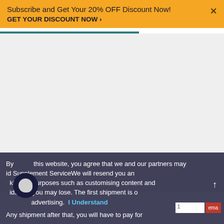Subscribe and Get Your 20% OFF Discount Now! GET YOUR DISCOUNT NOW ›
[Figure (screenshot): Large white/light gray blank content area below the orange banner, representing a webpage body]
By using this website, you agree that we and our partners may use cookies for purposes such as customising content and advertising. I Understand
id SupplementServiceWe will resend you an ids that you may lose. The first shipment is o Any shipment after that, you will have to pay for